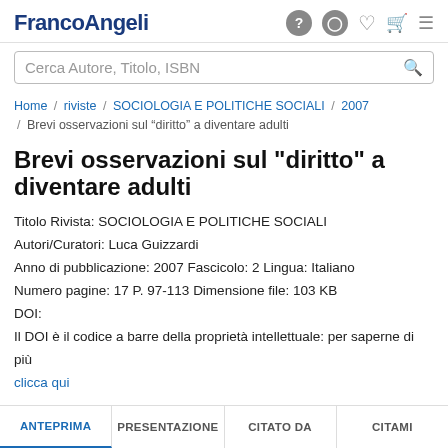FrancoAngeli
Cerca Autore, Titolo, ISBN
Home / riviste / SOCIOLOGIA E POLITICHE SOCIALI / 2007 / Brevi osservazioni sul "diritto" a diventare adulti
Brevi osservazioni sul "diritto" a diventare adulti
Titolo Rivista: SOCIOLOGIA E POLITICHE SOCIALI
Autori/Curatori: Luca Guizzardi
Anno di pubblicazione: 2007 Fascicolo: 2 Lingua: Italiano
Numero pagine: 17 P. 97-113 Dimensione file: 103 KB
DOI:
Il DOI è il codice a barre della proprietà intellettuale: per saperne di più
clicca qui
ANTEPRIMA	PRESENTAZIONE	CITATO DA	CITAMI